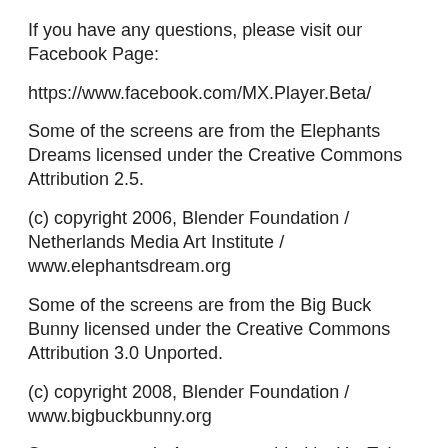If you have any questions, please visit our Facebook Page:
https://www.facebook.com/MX.Player.Beta/
Some of the screens are from the Elephants Dreams licensed under the Creative Commons Attribution 2.5.
(c) copyright 2006, Blender Foundation / Netherlands Media Art Institute / www.elephantsdream.org
Some of the screens are from the Big Buck Bunny licensed under the Creative Commons Attribution 3.0 Unported.
(c) copyright 2008, Blender Foundation / www.bigbuckbunny.org
Some contents in App are provided by YouTube services and API, please follow these:
https://www.youtube.com/t/terms
https://www.youtube.com/yt/copyright/
https://www.youtube.com/yt/policyandsafety/
MX Player Beta a récemment été mis à jour editors beta